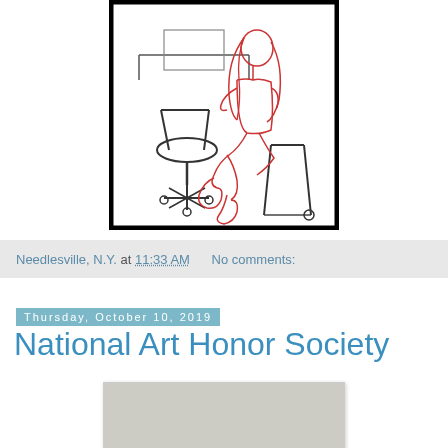[Figure (illustration): Line drawing illustration of a young woman with long wavy hair sitting cross-legged on a stool/chair in an office setting, drawn in red ink for the figure and black ink for the background furniture including an office chair and desk.]
Needlesville, N.Y. at 11:33 AM   No comments:
Thursday, October 10, 2019
National Art Honor Society
[Figure (photo): Partially visible photograph at the bottom of the page, appears to show a grey/neutral background.]